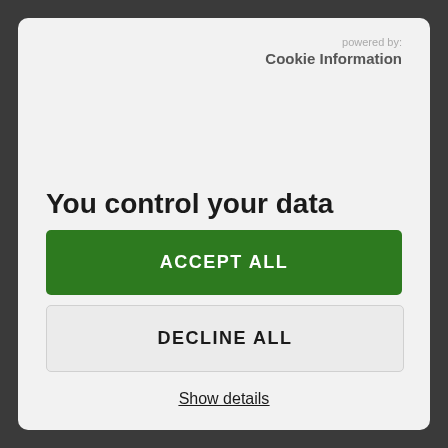powered by:
Cookie Information
You control your data
ACCEPT ALL
DECLINE ALL
Show details